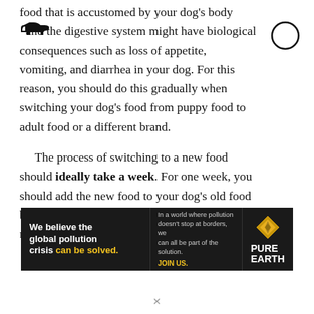food that is accustomed by your dog's body and the digestive system might have biological consequences such as loss of appetite, vomiting, and diarrhea in your dog. For this reason, you should do this gradually when switching your dog's food from puppy food to adult food or a different brand.

The process of switching to a new food should ideally take a week. For one week, you should add the new food to your dog's old food by mixing it in increasing amounts. You can make the ideal diet transition for your Morkie
[Figure (other): Advertisement banner for Pure Earth organization. Black background with text: 'We believe the global pollution crisis can be solved.' and 'In a world where pollution doesn't stop at borders, we can all be part of the solution. JOIN US.' with Pure Earth logo (diamond shape with arrow).]